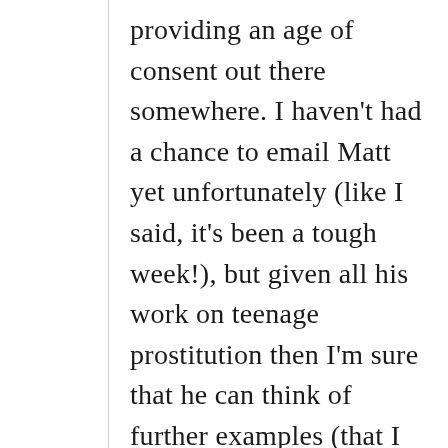providing an age of consent out there somewhere. I haven't had a chance to email Matt yet unfortunately (like I said, it's been a tough week!), but given all his work on teenage prostitution then I'm sure that he can think of further examples (that I